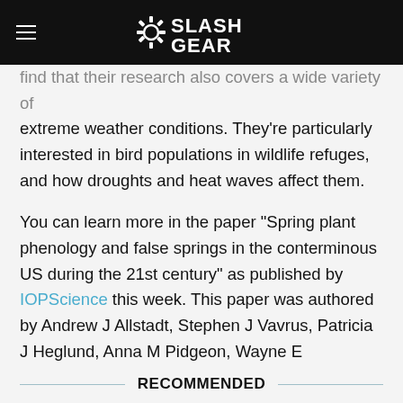SlashGear
find that their research also covers a wide variety of extreme weather conditions. They're particularly interested in bird populations in wildlife refuges, and how droughts and heat waves affect them.
You can learn more in the paper "Spring plant phenology and false springs in the conterminous US during the 21st century" as published by IOPScience this week. This paper was authored by Andrew J Allstadt, Stephen J Vavrus, Patricia J Heglund, Anna M Pidgeon, Wayne E Thogmartin, and Volker C Radeloff, and can be found in Environmental Research Letters 10 104008.
RECOMMENDED